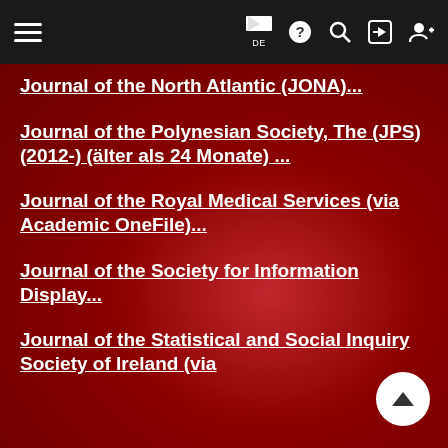Navigation bar with hamburger menu, flag/DE, help, search, login, register icons
Journal of the North Atlantic (JONA)...
Journal of the Polynesian Society, The (JPS) (2012-) (älter als 24 Monate) ...
Journal of the Royal Medical Services (via Academic OneFile)...
Journal of the Society for Information Display...
Journal of the Statistical and Social Inquiry Society of Ireland (via